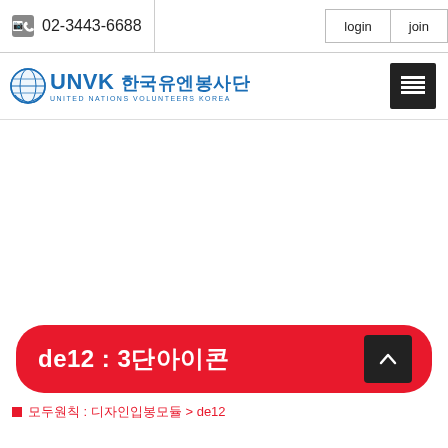02-3443-6688  login  join
[Figure (logo): UNVK 한국유엔봉사단 (United Nations Volunteers Korea) logo with globe icon and hamburger menu button]
de12 : 3단아이콘
● 모두원칙 : 디자인입봉모듈 > de12